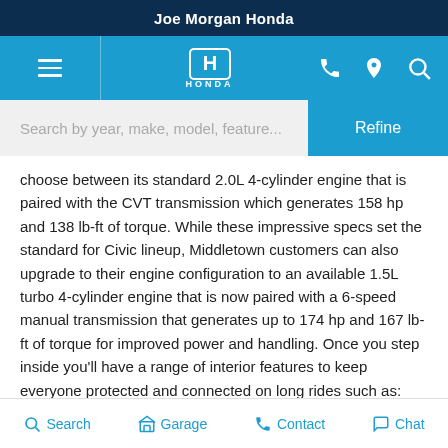Joe Morgan Honda
[Figure (screenshot): Honda dealership website navigation bar with hamburger menu, Honda logo, phone, location, and search icons on blue background]
[Figure (screenshot): Search bar with placeholder 'Search by year, make, model, feature...' and a blue Refine button]
choose between its standard 2.0L 4-cylinder engine that is paired with the CVT transmission which generates 158 hp and 138 lb-ft of torque. While these impressive specs set the standard for Civic lineup, Middletown customers can also upgrade to their engine configuration to an available 1.5L turbo 4-cylinder engine that is now paired with a 6-speed manual transmission that generates up to 174 hp and 167 lb-ft of torque for improved power and handling. Once you step inside you'll have a range of interior features to keep everyone protected and connected on long rides such as:
5-inch Color LCD Screen
Automatic Climate Control System
160-Watt Audio System with 4 Speakers
Search  Garage  Contact  Chat